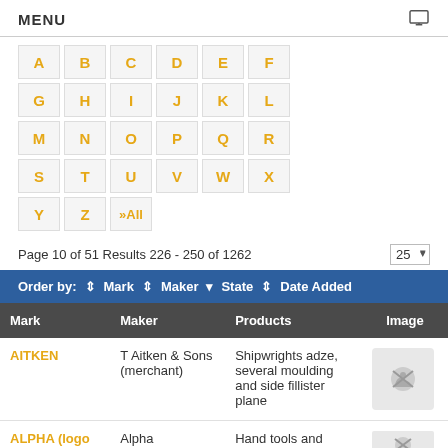MENU
A B C D E F G H I J K L M N O P Q R S T U V W X Y Z »All
Page 10 of 51 Results 226 - 250 of 1262
Order by: Mark Maker State Date Added
| Mark | Maker | Products | Image |
| --- | --- | --- | --- |
| AITKEN | T Aitken & Sons (merchant) | Shipwrights adze, several moulding and side fillister plane |  |
| ALPHA (logo Aust | Alpha | Hand tools and |  |